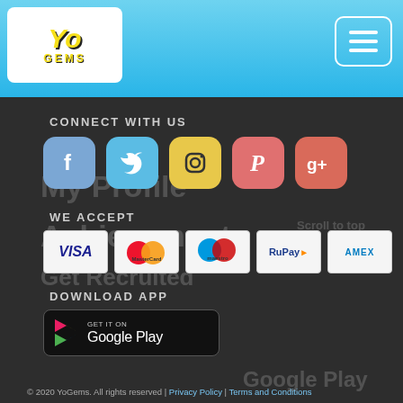[Figure (logo): YoGems logo with yellow stylized text on white background, blue header bar with hamburger menu icon]
CONNECT WITH US
[Figure (infographic): Row of 5 social media icons: Facebook (blue), Twitter (light blue), Instagram (yellow), Pinterest (coral), Google+ (orange-red)]
WE ACCEPT
[Figure (infographic): Row of 5 payment method logos: VISA, MasterCard, Maestro, RuPay, AMEX]
DOWNLOAD APP
[Figure (screenshot): Get it on Google Play button (black rounded rectangle with play triangle icon and text)]
© 2020 YoGems. All rights reserved | Privacy Policy | Terms and Conditions